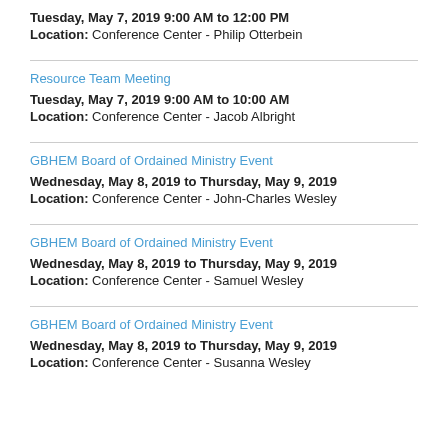Tuesday, May 7, 2019 9:00 AM to 12:00 PM
Location: Conference Center - Philip Otterbein
Resource Team Meeting
Tuesday, May 7, 2019 9:00 AM to 10:00 AM
Location: Conference Center - Jacob Albright
GBHEM Board of Ordained Ministry Event
Wednesday, May 8, 2019 to Thursday, May 9, 2019
Location: Conference Center - John-Charles Wesley
GBHEM Board of Ordained Ministry Event
Wednesday, May 8, 2019 to Thursday, May 9, 2019
Location: Conference Center - Samuel Wesley
GBHEM Board of Ordained Ministry Event
Wednesday, May 8, 2019 to Thursday, May 9, 2019
Location: Conference Center - Susanna Wesley